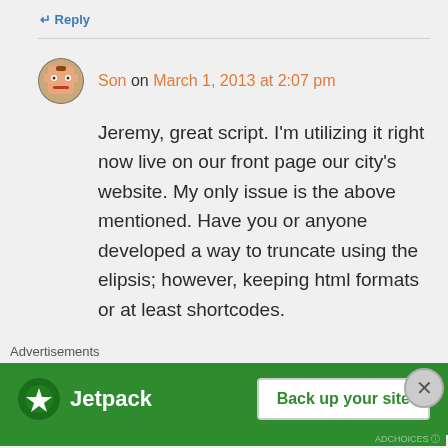↵ Reply
Son on March 1, 2013 at 2:07 pm
Jeremy, great script. I'm utilizing it right now live on our front page our city's website. My only issue is the above mentioned. Have you or anyone developed a way to truncate using the elipsis; however, keeping html formats or at least shortcodes.
★ Like
↵ Reply
Advertisements
[Figure (screenshot): Jetpack advertisement banner with green background showing Jetpack logo and 'Back up your site' button]